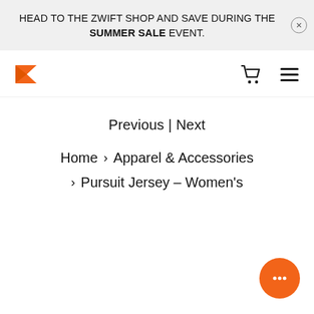HEAD TO THE ZWIFT SHOP AND SAVE DURING THE SUMMER SALE EVENT.
[Figure (logo): Zwift orange Z logo and navigation bar with cart and hamburger menu icons]
Previous | Next
Home > Apparel & Accessories > Pursuit Jersey – Women's